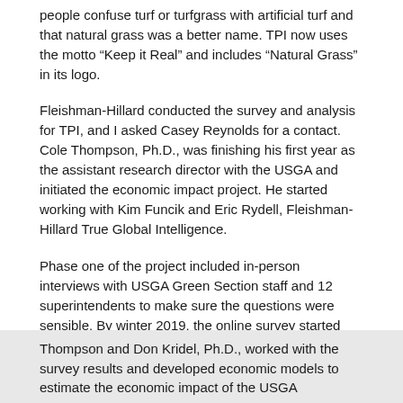people confuse turf or turfgrass with artificial turf and that natural grass was a better name. TPI now uses the motto “Keep it Real” and includes “Natural Grass” in its logo.
Fleishman-Hillard conducted the survey and analysis for TPI, and I asked Casey Reynolds for a contact. Cole Thompson, Ph.D., was finishing his first year as the assistant research director with the USGA and initiated the economic impact project. He started working with Kim Funcik and Eric Rydell, Fleishman-Hillard True Global Intelligence.
Phase one of the project included in-person interviews with USGA Green Section staff and 12 superintendents to make sure the questions were sensible. By winter 2019, the online survey started with superintendents, and a lot of the data was collected just as COVID hit the country. The GCSAA was a great partner in helping with the survey distribution.
The data collected from the survey focused on the benefits associated with golf facilities’ adoption of research-based management practices in six primary areas of interest: (a) evapotranspiration-based irrigation scheduling (water budgeting), (b) soil moisture sensing, (c) best management practices that reduce nonpoint source pollution by fertilizers and pesticides, (d) putting green construction techniques, (e) naturalized roughs and (f) improved turfgrass cultivars.
Thompson and Don Kridel, Ph.D., worked with the survey results and developed economic models to estimate the economic impact of the USGA